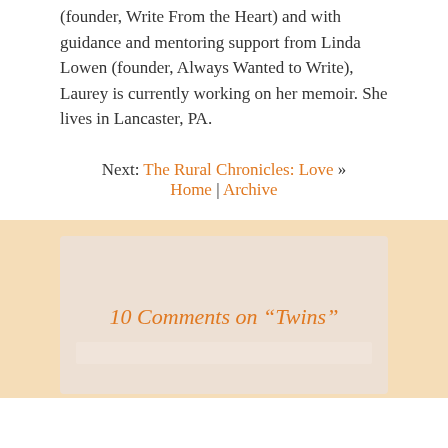(founder, Write From the Heart) and with guidance and mentoring support from Linda Lowen (founder, Always Wanted to Write), Laurey is currently working on her memoir. She lives in Lancaster, PA.
Next: The Rural Chronicles: Love » Home | Archive
10 Comments on “Twins”